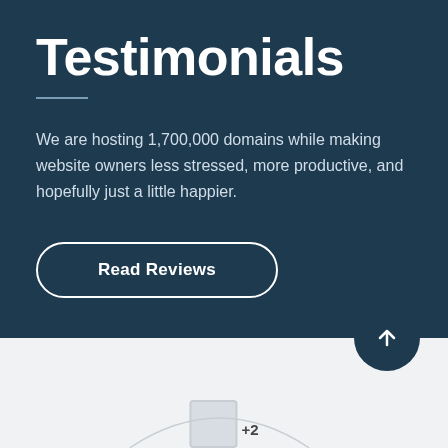Testimonials
We are hosting 1,700,000 domains while making website owners less stressed, more productive, and hopefully just a little happier.
Read Reviews
[Figure (illustration): Circular scroll-to-top button with upward arrow, positioned at the boundary between dark and light sections]
[Figure (illustration): Partial view of avatar image and +2 badge at the bottom of the page, with a decorative arc/semicircle overlay]